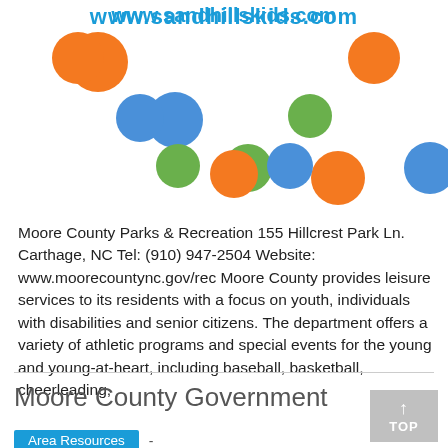[Figure (illustration): Decorative illustration showing the URL www.sandhillskids.com in blue text with colorful circles (orange, blue, green) arranged in a bouncing pattern on a white background.]
Moore County Parks & Recreation 155 Hillcrest Park Ln. Carthage, NC Tel: (910) 947-2504 Website: www.moorecountync.gov/rec Moore County provides leisure services to its residents with a focus on youth, individuals with disabilities and senior citizens. The department offers a variety of athletic programs and special events for the young and young-at-heart, including baseball, basketball, cheerleading,
Moore County Government
Area Resources  -